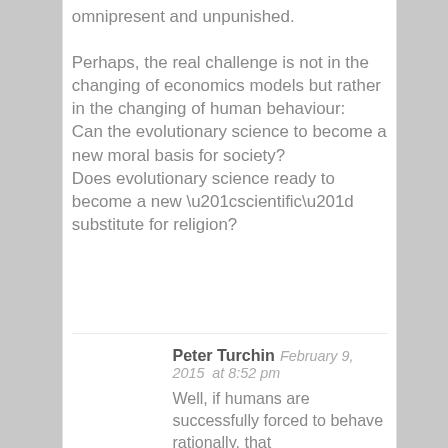omnipresent and unpunished.

Perhaps, the real challenge is not in the changing of economics models but rather in the changing of human behaviour:
Can the evolutionary science to become a new moral basis for society?
Does evolutionary science ready to become a new “scientific” substitute for religion?
Peter Turchin   February 9, 2015   at 8:52 pm

Well, if humans are successfully forced to behave rationally, that